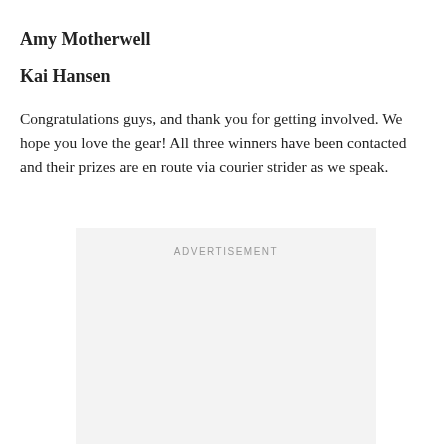Amy Motherwell
Kai Hansen
Congratulations guys, and thank you for getting involved. We hope you love the gear! All three winners have been contacted and their prizes are en route via courier strider as we speak.
[Figure (other): Advertisement placeholder box with the label ADVERTISEMENT centered at top]